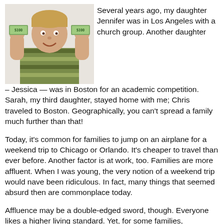[Figure (photo): A child holding up a $100 bill with both fists raised, wearing a striped shirt, smiling.]
Several years ago, my daughter Jennifer was in Los Angeles with a church group.  Another daughter – Jessica — was in Boston for an academic competition.  Sarah, my third daughter, stayed home with me; Chris traveled to Boston.  Geographically, you can't spread a family much further than that!
Today, it's common for families to jump on an airplane for a weekend trip to Chicago or Orlando.  It's cheaper to travel than ever before.  Another factor is at work, too.  Families are more affluent.  When I was young, the very notion of a weekend trip would nave been ridiculous.  In fact, many things that seemed absurd then are commonplace today.
Affluence may be a double-edged sword, though.  Everyone likes a higher living standard.  Yet, for some families, prosperity creates problems.  Drug and alcohol abuse, mental problems, various family dysfunctions can be aggravated by